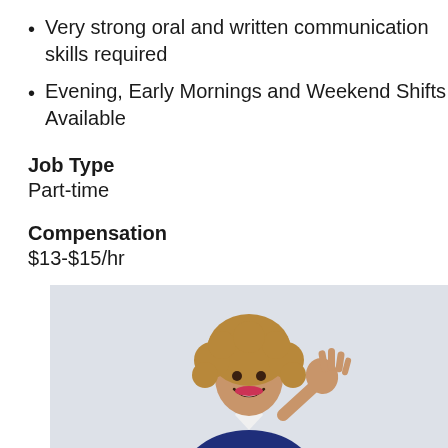Very strong oral and written communication skills required
Evening, Early Mornings and Weekend Shifts Available
Job Type
Part-time
Compensation
$13-$15/hr
[Figure (photo): A smiling woman with curly hair wearing a blue blazer and white shirt, raising her right hand in a greeting gesture, against a light gray background.]